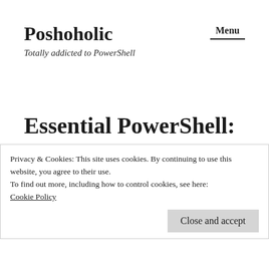Poshoholic
Totally addicted to PowerShell
Menu
Essential PowerShell: Know your operator and
Privacy & Cookies: This site uses cookies. By continuing to use this website, you agree to their use.
To find out more, including how to control cookies, see here: Cookie Policy
Close and accept